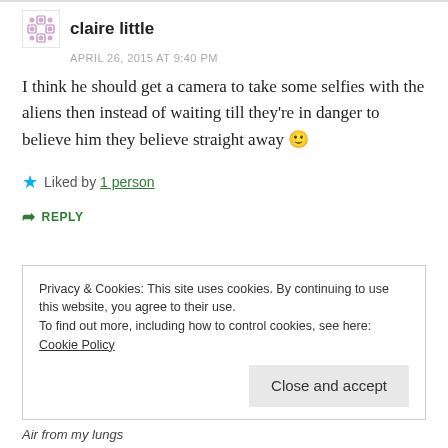claire little
APRIL 26, 2015 AT 9:40 PM
I think he should get a camera to take some selfies with the aliens then instead of waiting till they're in danger to believe him they believe straight away 🙂
Liked by 1 person
REPLY
Privacy & Cookies: This site uses cookies. By continuing to use this website, you agree to their use. To find out more, including how to control cookies, see here: Cookie Policy
Close and accept
Air from my lungs